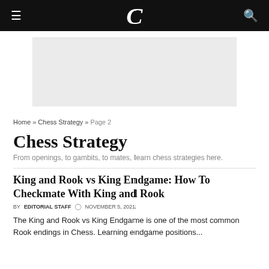≡  𝕮  🔍
[Figure (other): Gray advertisement placeholder box]
Home » Chess Strategy » Page 2
Chess Strategy
From openings, to gambits, to mates, learn chess strategies here.
King and Rook vs King Endgame: How To Checkmate With King and Rook
BY EDITORIAL STAFF  🕐 NOVEMBER 5, 2021
The King and Rook vs King Endgame is one of the most common Rook endings in Chess. Learning endgame positions...